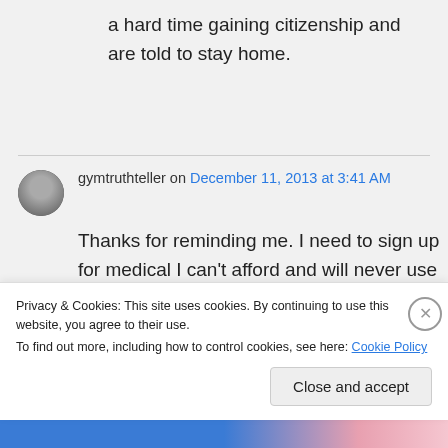a hard time gaining citizenship and are told to stay home.
gymtruthteller on December 11, 2013 at 3:41 AM
Thanks for reminding me. I need to sign up for medical I can't afford and will never use before the end of the year. Another Obama lie
Privacy & Cookies: This site uses cookies. By continuing to use this website, you agree to their use.
To find out more, including how to control cookies, see here: Cookie Policy
Close and accept